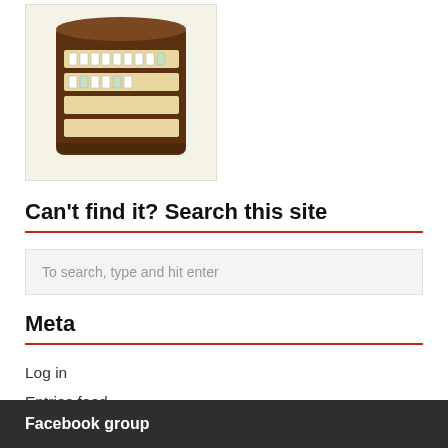[Figure (photo): Photograph of a wooden mahjong set box with open drawers showing mahjong tiles arranged inside, on a cream/yellow background.]
Can't find it? Search this site
To search, type and hit enter
Meta
Log in
Entries feed
Comments feed
WordPress.org
Facebook group